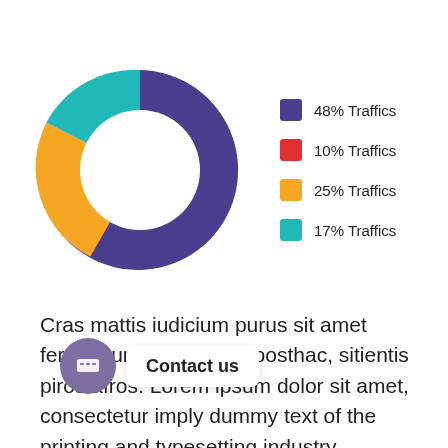[Figure (donut-chart): Traffic Distribution]
Cras mattis iudicium purus sit amet fermentum at nos hinc posthac, sitientis piros afros. Lorem ipsum dolor sit amet, consectetur imply dummy text of the printing and typesetting industry. Loindustry's standard dummy er a when an unknown printer took.Cras mattis iudicium purus sit amet fermentum at